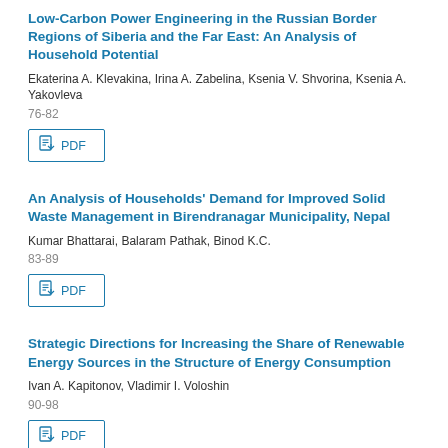Low-Carbon Power Engineering in the Russian Border Regions of Siberia and the Far East: An Analysis of Household Potential
Ekaterina A. Klevakina, Irina A. Zabelina, Ksenia V. Shvorina, Ksenia A. Yakovleva
76-82
[Figure (other): PDF download button]
An Analysis of Households' Demand for Improved Solid Waste Management in Birendranagar Municipality, Nepal
Kumar Bhattarai, Balaram Pathak, Binod K.C.
83-89
[Figure (other): PDF download button]
Strategic Directions for Increasing the Share of Renewable Energy Sources in the Structure of Energy Consumption
Ivan A. Kapitonov, Vladimir I. Voloshin
90-98
[Figure (other): PDF download button (partially visible)]